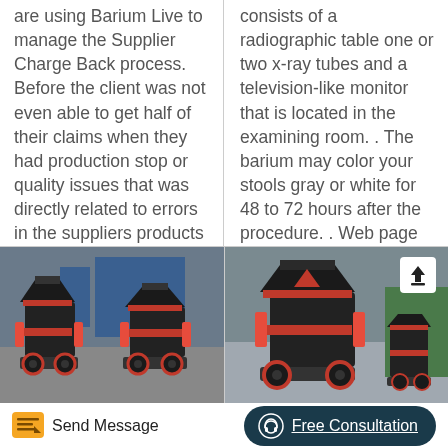are using Barium Live to manage the Supplier Charge Back process. Before the client was not even able to get half of their claims when they had production stop or quality issues that was directly related to errors in the suppliers products or the .
consists of a radiographic table one or two x-ray tubes and a television-like monitor that is located in the examining room. . The barium may color your stools gray or white for 48 to 72 hours after the procedure. . Web page review process .
[Figure (photo): Industrial cone crusher machines in a factory setting, black and red colored equipment]
[Figure (photo): Industrial cone crusher machine close-up, black and red colored with an upload icon overlay]
Send Message
Free Consultation